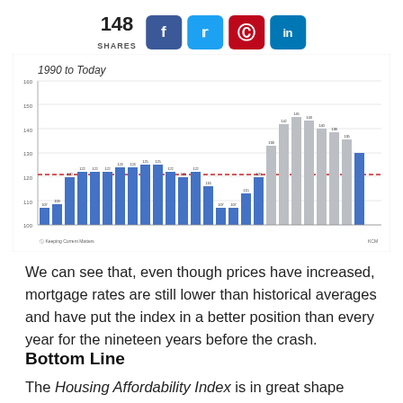[Figure (bar-chart): Bar chart showing Housing Affordability Index from 1990 to Today. Blue bars for historical years, gray bars for recent/projected years. A red dashed line indicates a reference level around 120-125.]
We can see that, even though prices have increased, mortgage rates are still lower than historical averages and have put the index in a better position than every year for the nineteen years before the crash.
Bottom Line
The Housing Affordability Index is in great shape